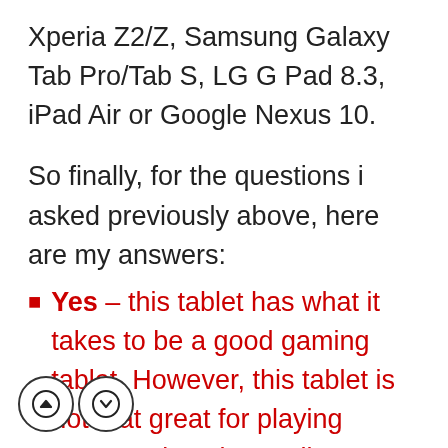Xperia Z2/Z, Samsung Galaxy Tab Pro/Tab S, LG G Pad 8.3, iPad Air or Google Nexus 10.
So finally, for the questions i asked previously above, here are my answers:
Yes – this tablet has what it takes to be a good gaming tablet. However, this tablet is not that great for playing games, given its mediocre hardware specs that are not on par anymore with today's standards. Yes – you can